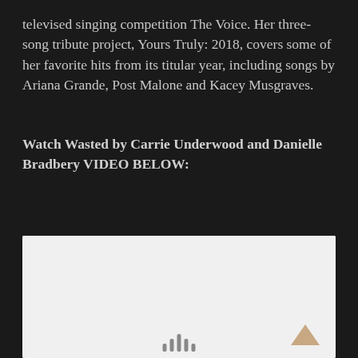televised singing competition The Voice. Her three-song tribute project, Yours Truly: 2018, covers some of her favorite hits from its titular year, including songs by Ariana Grande, Post Malone and Kacey Musgraves.
Watch Wasted by Carrie Underwood and Danielle Bradbery VIDEO BELOW:
[Figure (screenshot): Embedded video player showing a white/light gray background, with a scroll-to-top arrow icon in the lower right corner and loading indicator bars at the bottom center.]